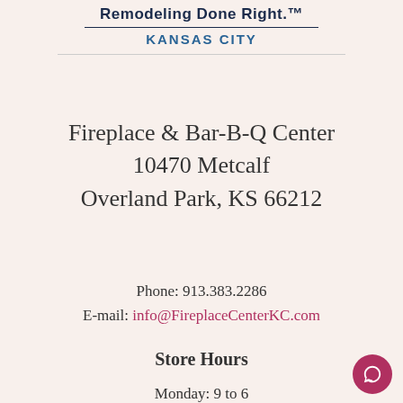[Figure (logo): Company logo area with 'Remodeling Done Right.' tagline and 'KANSAS CITY' subtitle, with horizontal divider line]
Fireplace & Bar-B-Q Center
10470 Metcalf
Overland Park, KS 66212
Phone: 913.383.2286
E-mail: info@FireplaceCenterKC.com
Store Hours
Monday: 9 to 6
[Figure (other): Red circular chat button icon in bottom right corner]